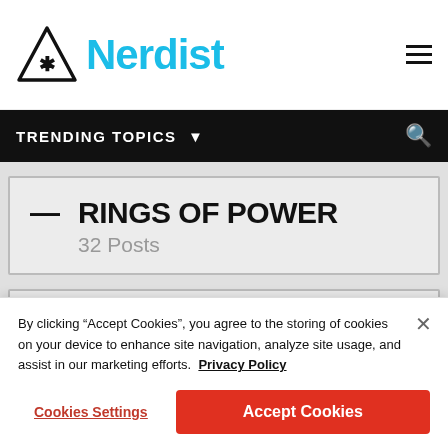Nerdist
TRENDING TOPICS
— RINGS OF POWER
32 Posts
— WEDNESDAY
6 Posts
By clicking "Accept Cookies", you agree to the storing of cookies on your device to enhance site navigation, analyze site usage, and assist in our marketing efforts.  Privacy Policy
Cookies Settings
Accept Cookies